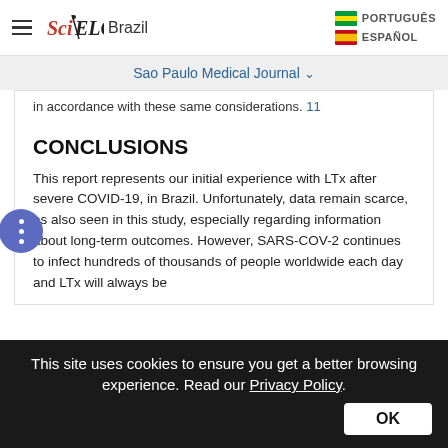SciELO Brazil — Sao Paulo Medical Journal
in accordance with these same considerations. 11
CONCLUSIONS
This report represents our initial experience with LTx after severe COVID-19, in Brazil. Unfortunately, data remain scarce, as also seen in this study, especially regarding information about long-term outcomes. However, SARS-COV-2 continues to infect hundreds of thousands of people worldwide each day and LTx will always be
This site uses cookies to ensure you get a better browsing experience. Read our Privacy Policy. OK